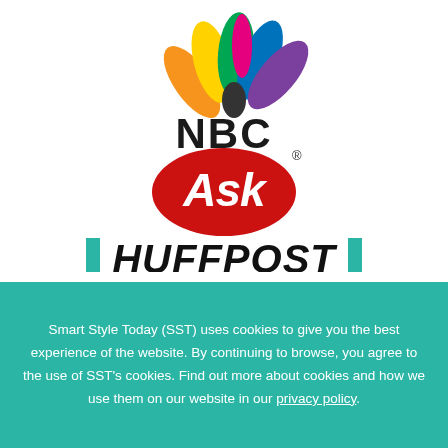[Figure (logo): NBC peacock logo above 'NBC Ask' with red oval containing italic 'Ask' text, and below it 'HUFFPOST' in bold black italic letters with teal vertical bar brackets on each side]
Smart Style Today (SST) uses cookies to give you the best experience of the website. By continuing to browse, you agree to the use of SST's cookies. Find out more about cookies and how we use them on our website in our privacy policy.